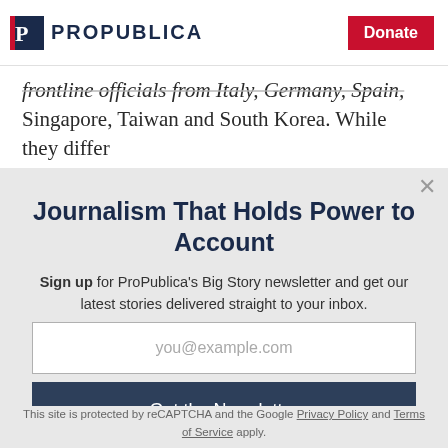ProPublica | Donate
frontline officials from Italy, Germany, Spain, Singapore, Taiwan and South Korea. While they differ
Journalism That Holds Power to Account
Sign up for ProPublica's Big Story newsletter and get our latest stories delivered straight to your inbox.
you@example.com
Get the Newsletter
No thanks, I'm all set
This site is protected by reCAPTCHA and the Google Privacy Policy and Terms of Service apply.